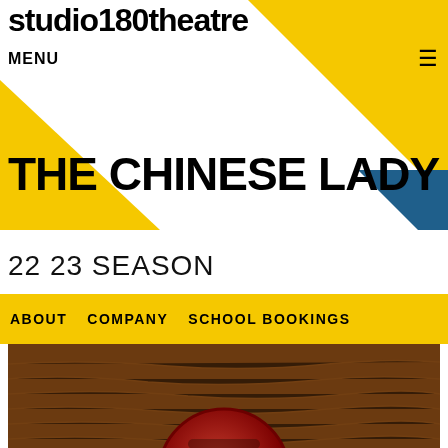studio180theatre
MENU
THE CHINESE LADY
22 23 SEASON
ABOUT   COMPANY   SCHOOL BOOKINGS
[Figure (photo): Photo of a person wearing traditional Chinese attire with a red headdress, set against a warm brown wood-grain background.]